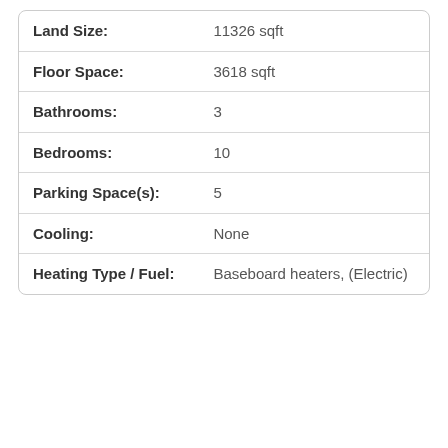| Property Feature | Value |
| --- | --- |
| Land Size: | 11326 sqft |
| Floor Space: | 3618 sqft |
| Bathrooms: | 3 |
| Bedrooms: | 10 |
| Parking Space(s): | 5 |
| Cooling: | None |
| Heating Type / Fuel: | Baseboard heaters, (Electric) |